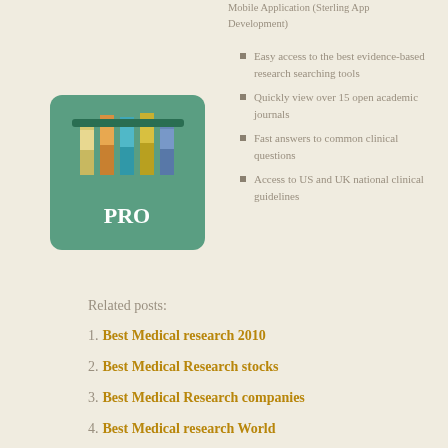Mobile Application (Sterling App Development)
Easy access to the best evidence-based research searching tools
Quickly view over 15 open academic journals
Fast answers to common clinical questions
Access to US and UK national clinical guidelines
[Figure (illustration): App icon for a PRO medical research app showing test tubes on a green background with the label PRO]
Related posts:
1. Best Medical research 2010
2. Best Medical Research stocks
3. Best Medical Research companies
4. Best Medical research World